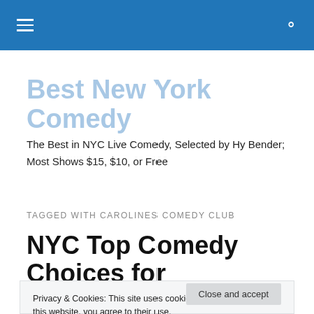Best New York Comedy [navigation bar with hamburger menu and search icon]
Best New York Comedy
The Best in NYC Live Comedy, Selected by Hy Bender; Most Shows $15, $10, or Free
TAGGED WITH CAROLINES COMEDY CLUB
NYC Top Comedy Choices for
Privacy & Cookies: This site uses cookies. By continuing to use this website, you agree to their use.
To find out more, including how to control cookies, see here: Cookie Policy
Close and accept